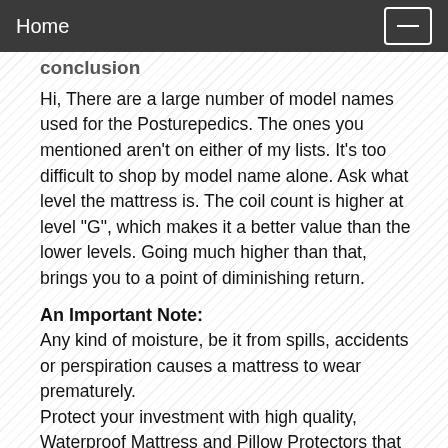Home
conclusion
Hi, There are a large number of model names used for the Posturepedics. The ones you mentioned aren't on either of my lists. It's too difficult to shop by model name alone. Ask what level the mattress is. The coil count is higher at level "G", which makes it a better value than the lower levels. Going much higher than that, brings you to a point of diminishing return.
An Important Note:
Any kind of moisture, be it from spills, accidents or perspiration causes a mattress to wear prematurely.
Protect your investment with high quality, Waterproof Mattress and Pillow Protectors that sleep cool and won't shrink.
http://themattressexpert.com/mattress-protectors/